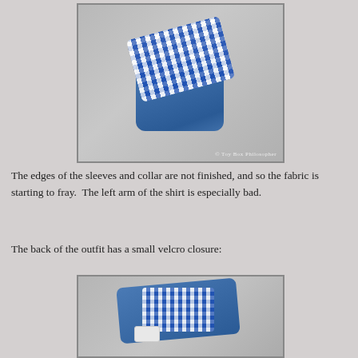[Figure (photo): Front view of a small doll outfit consisting of blue denim overalls/pants and a blue and white gingham checked shirt, laid flat on a gray surface. The edges of the sleeves and collar appear frayed. Watermark reads '© Toy Box Philosopher'.]
The edges of the sleeves and collar are not finished, and so the fabric is starting to fray.  The left arm of the shirt is especially bad.
The back of the outfit has a small velcro closure:
[Figure (photo): Back view of the same doll outfit showing the blue denim and gingham shirt from the rear, with a small white velcro closure visible.]